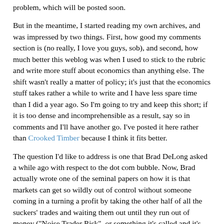problem, which will be posted soon.
But in the meantime, I started reading my own archives, and was impressed by two things. First, how good my comments section is (no really, I love you guys, sob), and second, how much better this weblog was when I used to stick to the rubric and write more stuff about economics than anything else. The shift wasn't really a matter of policy; it's just that the economics stuff takes rather a while to write and I have less spare time than I did a year ago. So I'm going to try and keep this short; if it is too dense and incomprehensible as a result, say so in comments and I'll have another go. I've posted it here rather than Crooked Timber because I think it fits better.
The question I'd like to address is one that Brad DeLong asked a while ago with respect to the dot com bubble. Now, Brad actually wrote one of the seminal papers on how it is that markets can get so wildly out of control without someone coming in a turning a profit by taking the other half of all the suckers' trades and waiting them out until they run out of money ("Noise Trader Risk", or something it's called and it's